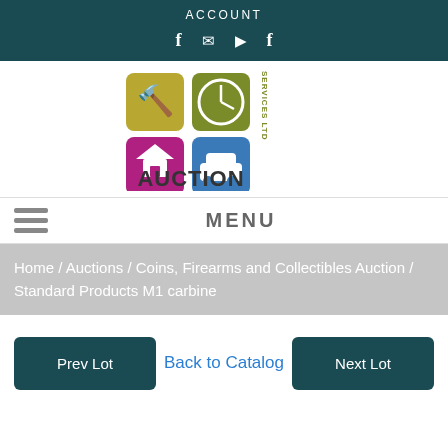ACCOUNT
[Figure (logo): Auction Services Ltd logo with four colored squares (gavel/gold, clock/olive, house/magenta, car/blue) and text AUCTION SERVICES LTD]
MENU
Home / Auctions / Coins, Firearms and Collectibles Auction /  Standard Products M1 carbine
Prev Lot | Back to Catalog | Next Lot